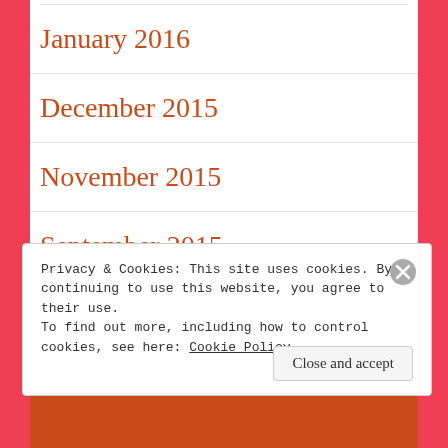January 2016
December 2015
November 2015
September 2015
August 2015
Privacy & Cookies: This site uses cookies. By continuing to use this website, you agree to their use.
To find out more, including how to control cookies, see here: Cookie Policy